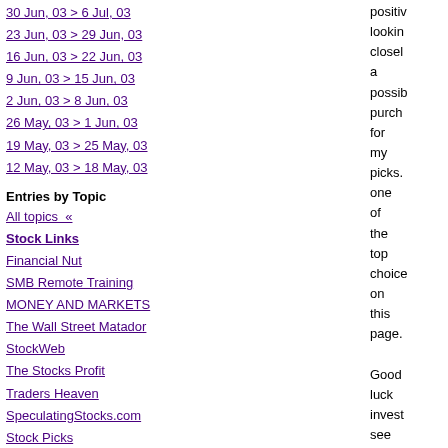30 Jun, 03 > 6 Jul, 03
23 Jun, 03 > 29 Jun, 03
16 Jun, 03 > 22 Jun, 03
9 Jun, 03 > 15 Jun, 03
2 Jun, 03 > 8 Jun, 03
26 May, 03 > 1 Jun, 03
19 May, 03 > 25 May, 03
12 May, 03 > 18 May, 03
Entries by Topic
All topics  «
Stock Links
Financial Nut
SMB Remote Training
MONEY AND MARKETS
The Wall Street Matador
StockWeb
The Stocks Profit
Traders Heaven
SpeculatingStocks.com
Stock Picks
Daily Stock Picks
Peakstocks.com
Guzzo the Contrarian
Timothy Sykes
Trading Goddess
The Best Stock Trading In The World
positiv looking closel a possib purch for my picks. one of the top choice on this page. Good luck invest see if we can find a better